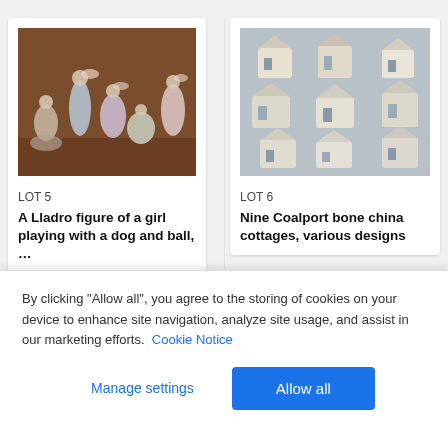[Figure (photo): Lladro porcelain figurines — several elegant lady figures and one with a horse, displayed on a wooden shelf background]
LOT 5
A Lladro figure of a girl playing with a dog and ball, …
[Figure (photo): Nine Coalport bone china cottages of various designs arranged on a grey background]
LOT 6
Nine Coalport bone china cottages, various designs
By clicking "Allow all", you agree to the storing of cookies on your device to enhance site navigation, analyze site usage, and assist in our marketing efforts.  Cookie Notice
Manage settings
Allow all